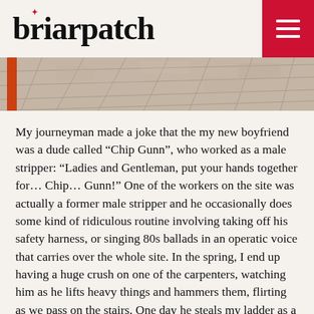briarpatch
[Figure (photo): Aerial or overhead view of tiled floor with reddish-orange vertical element on the left side]
My journeyman made a joke that the my new boyfriend was a dude called “Chip Gunn”, who worked as a male stripper: “Ladies and Gentleman, put your hands together for… Chip… Gunn!” One of the workers on the site was actually a former male stripper and he occasionally does some kind of ridiculous routine involving taking off his safety harness, or singing 80s ballads in an operatic voice that carries over the whole site. In the spring, I end up having a huge crush on one of the carpenters, watching him as he lifts heavy things and hammers them, flirting as we pass on the stairs. One day he steals my ladder as a joke. The whole thing is very